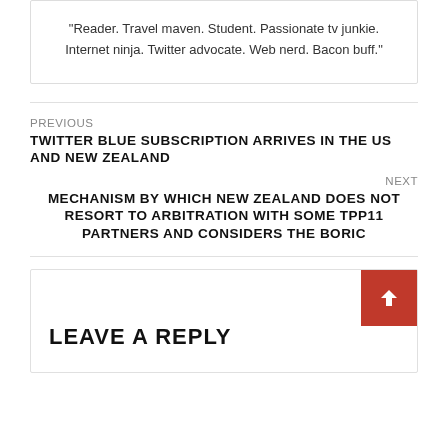“Reader. Travel maven. Student. Passionate tv junkie. Internet ninja. Twitter advocate. Web nerd. Bacon buff.”
PREVIOUS
TWITTER BLUE SUBSCRIPTION ARRIVES IN THE US AND NEW ZEALAND
NEXT
MECHANISM BY WHICH NEW ZEALAND DOES NOT RESORT TO ARBITRATION WITH SOME TPP11 PARTNERS AND CONSIDERS THE BORIC
LEAVE A REPLY